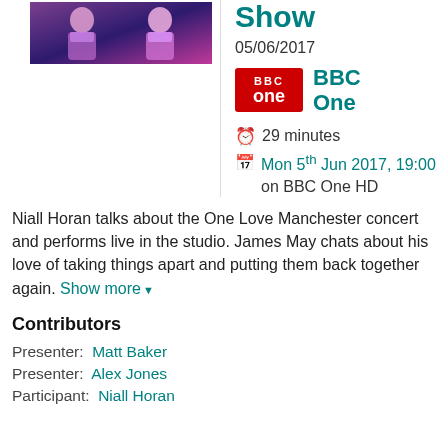[Figure (photo): Thumbnail image of two people in colorful/purple costumes on a show stage]
Show
05/06/2017
[Figure (logo): BBC One red logo box]
BBC One
29 minutes
Mon 5th Jun 2017, 19:00 on BBC One HD
Niall Horan talks about the One Love Manchester concert and performs live in the studio. James May chats about his love of taking things apart and putting them back together again. Show more ▼
Contributors
Presenter:  Matt Baker
Presenter:  Alex Jones
Participant:  Niall Horan